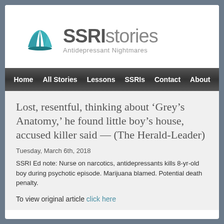[Figure (logo): SSRIstories logo — open book icon in teal, bold text 'SSRI' in dark gray, 'stories' in lighter gray, subtitle 'Antidepressant Nightmares' in light gray]
Home   All Stories   Lessons   SSRIs   Contact   About
Lost, resentful, thinking about ‘Grey’s Anatomy,’ he found little boy’s house, accused killer said — (The Herald-Leader)
Tuesday, March 6th, 2018
SSRI Ed note: Nurse on narcotics, antidepressants kills 8-yr-old boy during psychotic episode. Marijuana blamed. Potential death penalty.
To view original article click here